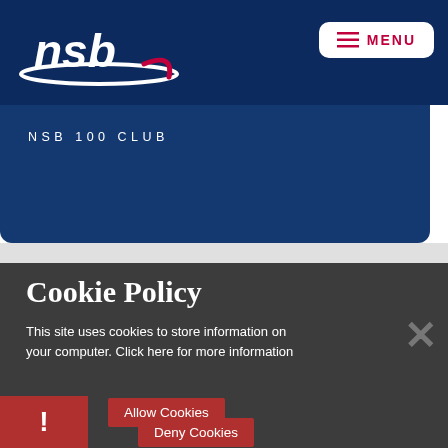[Figure (logo): NSB logo — white text 'nsb' with a white swoosh underline and a magenta/pink curved accent, on a dark navy background]
MENU
NSB 100 CLUB
Cookie Policy
This site uses cookies to store information on your computer. Click here for more information
Allow Cookies
Deny Cookies